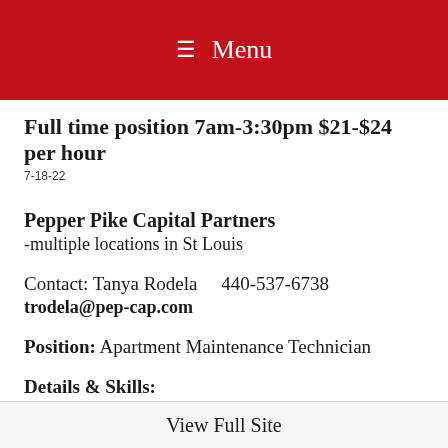Menu
Full time position  7am-3:30pm  $21-$24 per hour
7-18-22
Pepper Pike Capital Partners
-multiple locations in St Louis
Contact: Tanya Rodela    440-537-6738
trodela@pep-cap.com
Position: Apartment Maintenance Technician
Details & Skills:
Understand and execute the company's
View Full Site